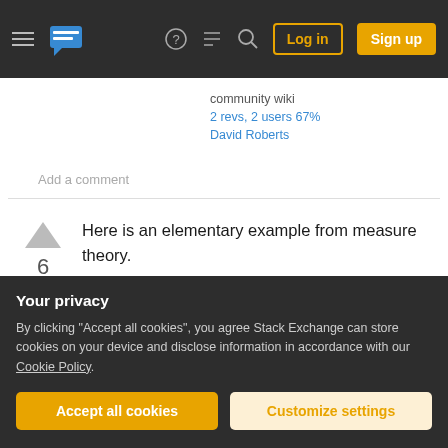Stack Exchange navigation bar with hamburger menu, logo, help, chat, search icons, Log in and Sign up buttons
community wiki
2 revs, 2 users 67%
David Roberts
Add a comment
Here is an elementary example from measure theory.
Usually L_p-spaces of a measurable space Z are defined with respect to some faithful measure μ on Z. More precisely, if p is a complex number with
Your privacy
By clicking "Accept all cookies", you agree Stack Exchange can store cookies on your device and disclose information in accordance with our Cookie Policy.
Accept all cookies
Customize settings